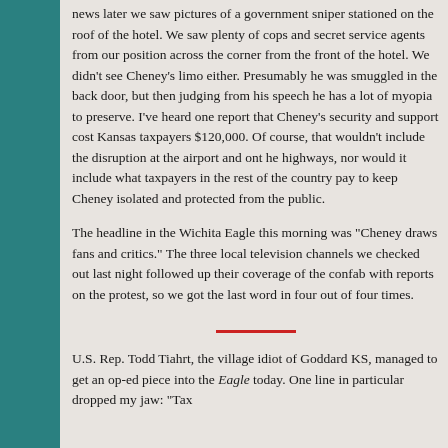news later we saw pictures of a government sniper stationed on the roof of the hotel. We saw plenty of cops and secret service agents from our position across the corner from the front of the hotel. We didn't see Cheney's limo either. Presumably he was smuggled in the back door, but then judging from his speech he has a lot of myopia to preserve. I've heard one report that Cheney's security and support cost Kansas taxpayers $120,000. Of course, that wouldn't include the disruption at the airport and ont he highways, nor would it include what taxpayers in the rest of the country pay to keep Cheney isolated and protected from the public.
The headline in the Wichita Eagle this morning was "Cheney draws fans and critics." The three local television channels we checked out last night followed up their coverage of the confab with reports on the protest, so we got the last word in four out of four times.
U.S. Rep. Todd Tiahrt, the village idiot of Goddard KS, managed to get an op-ed piece into the Eagle today. One line in particular dropped my jaw: "Tax